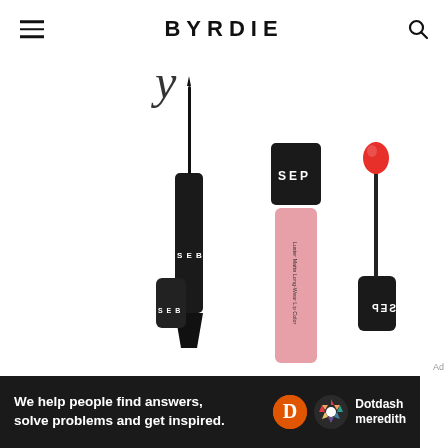BYRDIE
[Figure (photo): Sephora Collection beauty products: a black liquid eyeliner pen with cap removed and applicator raised, a pink Sephora Luster Matte Long-Wear Lip Color gloss tube with black cap labeled SEP, and the inverted applicator wand showing a red lip color tip]
We help people find answers, solve problems and get inspired.
[Figure (logo): Dotdash Meredith logo: orange D circle and colorful hexagon flower icon next to bold white text reading Dotdash meredith]